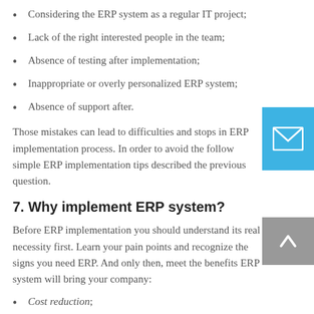Considering the ERP system as a regular IT project;
Lack of the right interested people in the team;
Absence of testing after implementation;
Inappropriate or overly personalized ERP system;
Absence of support after.
Those mistakes can lead to difficulties and stops in ERP implementation process. In order to avoid the follow simple ERP implementation tips described the previous question.
7. Why implement ERP system?
Before ERP implementation you should understand its real necessity first. Learn your pain points and recognize the signs you need ERP. And only then, meet the benefits ERP system will bring your company:
Cost reduction;